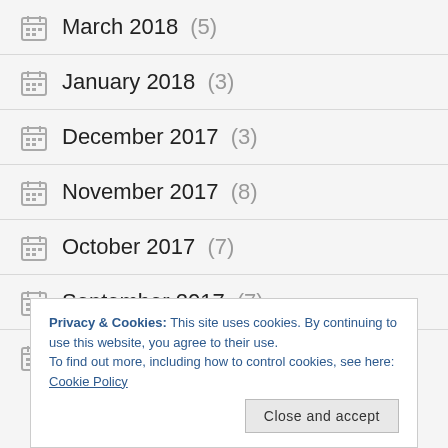March 2018 (5)
January 2018 (3)
December 2017 (3)
November 2017 (8)
October 2017 (7)
September 2017 (7)
August 2017 (9)
Privacy & Cookies: This site uses cookies. By continuing to use this website, you agree to their use.
To find out more, including how to control cookies, see here: Cookie Policy
Close and accept